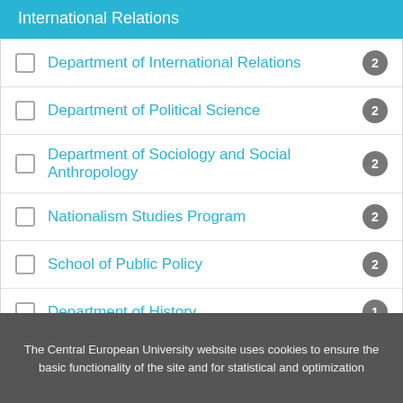International Relations
Department of International Relations 2
Department of Political Science 2
Department of Sociology and Social Anthropology 2
Nationalism Studies Program 2
School of Public Policy 2
Department of History 1
South East European Studies 1
The Central European University website uses cookies to ensure the basic functionality of the site and for statistical and optimization